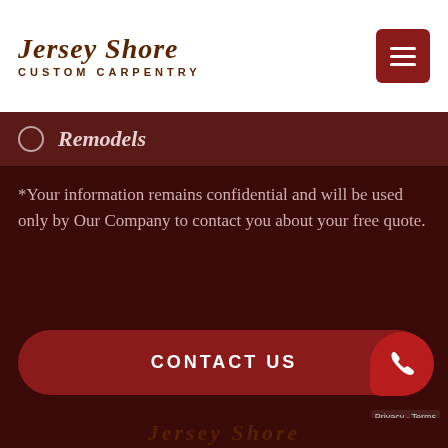Jersey Shore Custom Carpentry
Remodels
*Your information remains confidential and will be used only by Our Company to contact you about your free quote.
CONTACT US
[Figure (logo): Phone call widget button (red circle with phone icon)]
Jersey Shore
Privacy - Terms